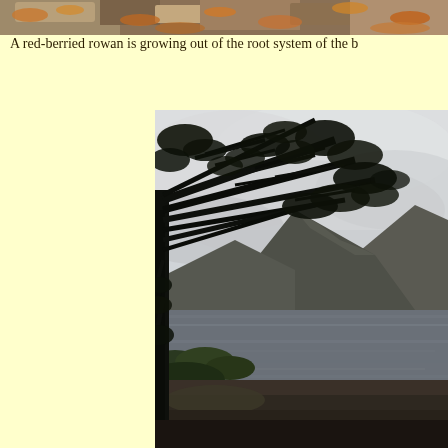[Figure (photo): Partial top strip of a photo showing rocky ground with orange and brown leaves/debris, cropped at the top of the page.]
A red-berried rowan is growing out of the root system of the b
[Figure (photo): A landscape photograph showing a large Scots pine tree in silhouette on the left, with branches extending across the upper portion. Behind it are grey cloudy skies, a lake or loch in the middle distance with rippled water, and dark rolling hills/mountains in the background. Some green trees and shrubs are visible on the lower left shore.]